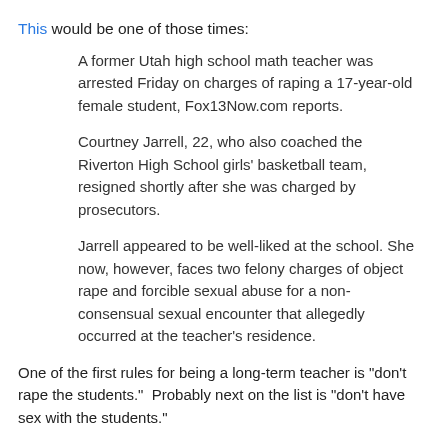This would be one of those times:
A former Utah high school math teacher was arrested Friday on charges of raping a 17-year-old female student, Fox13Now.com reports.
Courtney Jarrell, 22, who also coached the Riverton High School girls' basketball team, resigned shortly after she was charged by prosecutors.
Jarrell appeared to be well-liked at the school. She now, however, faces two felony charges of object rape and forcible sexual abuse for a non-consensual sexual encounter that allegedly occurred at the teacher's residence.
One of the first rules for being a long-term teacher is "don't rape the students."  Probably next on the list is "don't have sex with the students."